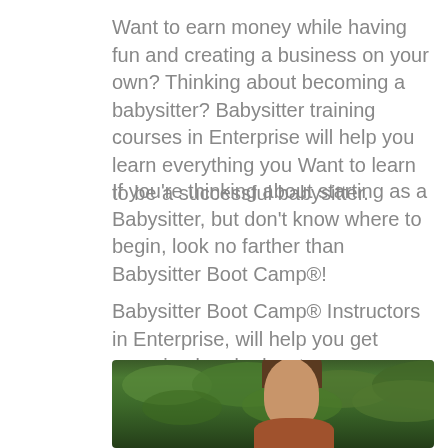Want to earn money while having fun and creating a business on your own? Thinking about becoming a babysitter? Babysitter training courses in Enterprise will help you learn everything you Want to learn to be a successful babysitter.
If you're thinking about starting as a Babysitter, but don't know where to begin, look no farther than Babysitter Boot Camp®!
Babysitter Boot Camp® Instructors in Enterprise, will help you get organized and educate you more and all of this.
[Figure (photo): Outdoor photo showing a person with dark hair against a background of green foliage/trees]